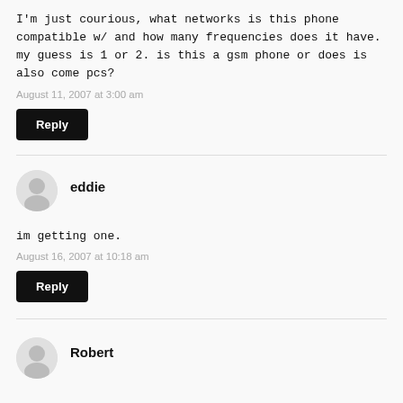I'm just courious, what networks is this phone compatible w/ and how many frequencies does it have. my guess is 1 or 2. is this a gsm phone or does is also come pcs?
August 11, 2007 at 3:00 am
Reply
eddie
im getting one.
August 16, 2007 at 10:18 am
Reply
Robert